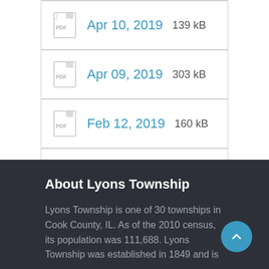Apr 10, 2019  139 kB
Apr 09, 2019  303 kB
Feb 12, 2019  160 kB
Jan 08, 2019  104 kB
About Lyons Township
Lyons Township is one of 30 townships in Cook County, IL. As of the 2010 census, its population was 111,688. Lyons Township was established in 1849 and is